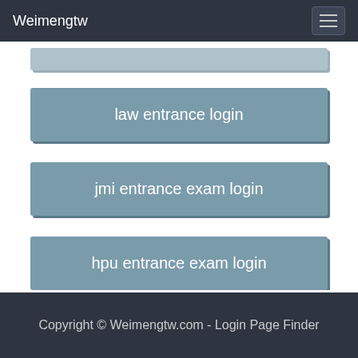Weimengtw
law entrance login
jmi entrance exam login
hpu entrance exam login
Copyright © Weimengtw.com - Login Page Finder